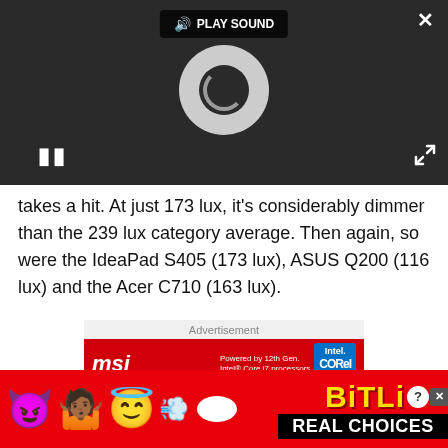[Figure (screenshot): Video player overlay with dark background, PLAY SOUND button with speaker icon, loading spinner (circular grey spinner), pause button, fullscreen/expand icon, and X close button.]
takes a hit. At just 173 lux, it's considerably dimmer than the 239 lux category average. Then again, so were the IdeaPad S405 (173 lux), ASUS Q200 (116 lux) and the Acer C710 (163 lux).
[Figure (screenshot): Advertisement section with 'Advertisement' label above. MSI ad banner showing MSI logo, 'Powered by 12th Gen. Intel Core i7 processors' with Intel Core badge, and 'BACK TO' text in large white letters on red background.]
[Figure (screenshot): BitLife advertisement banner with red background showing emoji characters (devil, person, angel) and sperm emoji, BitLife logo in yellow with help and close icons, and 'REAL CHOICES' text in black bar.]